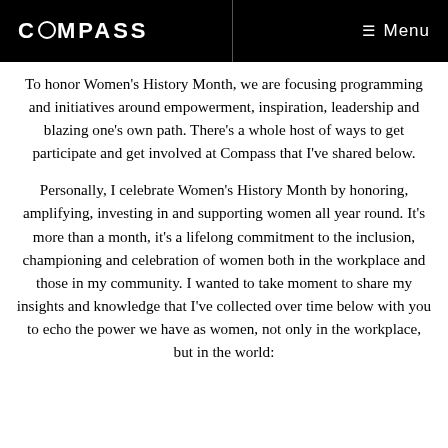COMPASS  Menu
To honor Women's History Month, we are focusing programming and initiatives around empowerment, inspiration, leadership and blazing one's own path. There's a whole host of ways to get participate and get involved at Compass that I've shared below.
Personally, I celebrate Women's History Month by honoring, amplifying, investing in and supporting women all year round. It's more than a month, it's a lifelong commitment to the inclusion, championing and celebration of women both in the workplace and those in my community. I wanted to take moment to share my insights and knowledge that I've collected over time below with you to echo the power we have as women, not only in the workplace, but in the world: